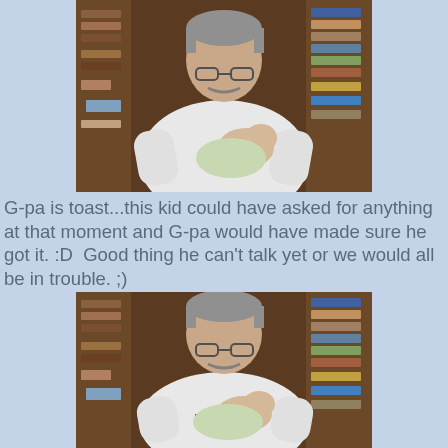[Figure (photo): A man with gray hair and glasses wearing a white sweatshirt holds a newborn baby in his arms, with bookshelves visible in the background.]
G-pa is toast...this kid could have asked for anything at that moment and G-pa would have made sure he got it. :D  Good thing he can't talk yet or we would all be in trouble. ;)
[Figure (photo): A second photo of the same man with gray hair and glasses holding the newborn baby, similar setting with bookshelves in background, taken from a slightly different angle.]